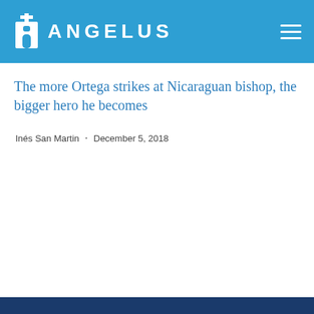ANGELUS
The more Ortega strikes at Nicaraguan bishop, the bigger hero he becomes
Inés San Martin · December 5, 2018
Start your day with Always Forward!
By using this website, you agree to our Privacy Policy and Cookie Policy.
ACCEPT